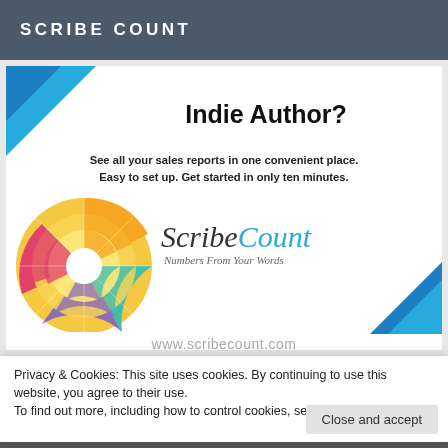SCRIBE COUNT
Indie Author?
See all your sales reports in one convenient place. Easy to set up. Get started in only ten minutes.
[Figure (logo): ScribeCount logo with a colorful radial chart on the left and the text 'ScribeCount — Numbers From Your Words' on the right, plus a blue geometric triangle decoration in the bottom-right corner.]
www.scribecount.com
Privacy & Cookies: This site uses cookies. By continuing to use this website, you agree to their use.
To find out more, including how to control cookies, see here: Cookie Policy
Close and accept